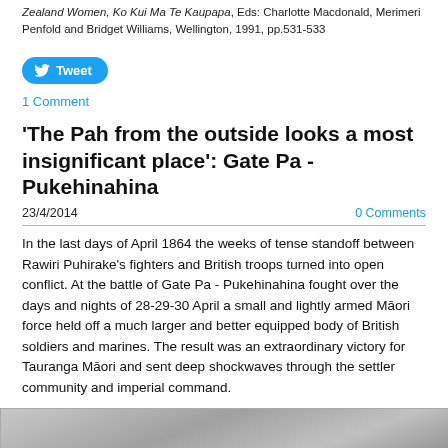Zealand Women, Ko Kui Ma Te Kaupapa, Eds: Charlotte Macdonald, Merimeri Penfold and Bridget Williams, Wellington, 1991, pp.531-533
[Figure (other): Twitter Tweet button (blue rounded rectangle with bird icon and 'Tweet' text)]
1 Comment
'The Pah from the outside looks a most insignificant place': Gate Pa - Pukehinahina
23/4/2014	0 Comments
In the last days of April 1864 the weeks of tense standoff between Rawiri Puhirake's fighters and British troops turned into open conflict. At the battle of Gate Pa - Pukehinahina fought over the days and nights of 28-29-30 April a small and lightly armed Māori force held off a much larger and better equipped body of British soldiers and marines. The result was an extraordinary victory for Tauranga Māori and sent deep shockwaves through the settler community and imperial command.
[Figure (photo): Black and white historical photograph strip (bottom of page, partially visible)]